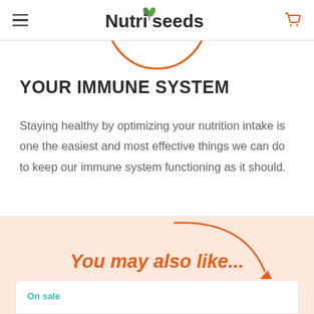Nutriseeds
YOUR IMMUNE SYSTEM
Staying healthy by optimizing your nutrition intake is one the easiest and most effective things we can do to keep our immune system functioning as it should.
You may also like...
On sale